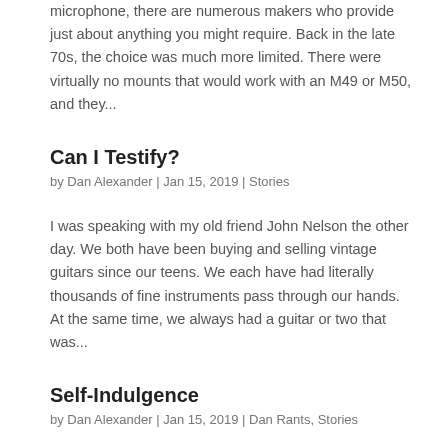microphone, there are numerous makers who provide just about anything you might require. Back in the late 70s, the choice was much more limited. There were virtually no mounts that would work with an M49 or M50, and they...
Can I Testify?
by Dan Alexander | Jan 15, 2019 | Stories
I was speaking with my old friend John Nelson the other day. We both have been buying and selling vintage guitars since our teens. We each have had literally thousands of fine instruments pass through our hands. At the same time, we always had a guitar or two that was...
Self-Indulgence
by Dan Alexander | Jan 15, 2019 | Dan Rants, Stories
I did try to think a lot of times. So the word list and...